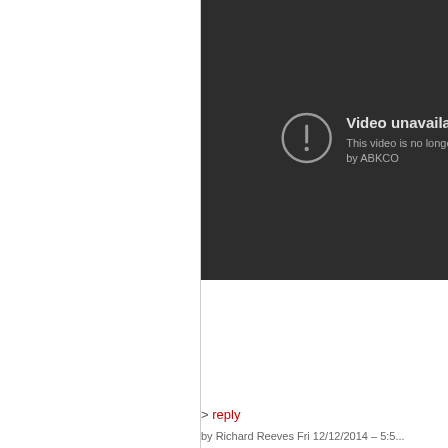[Figure (screenshot): YouTube 'Video unavailable' error screen on dark background. Shows a circle with exclamation mark icon, text 'Video unavailable', and subtitle 'This video is no longer ava... by ABKCO']
> reply
by Richard Reeves Fri 12/12/2014 – 5:5...